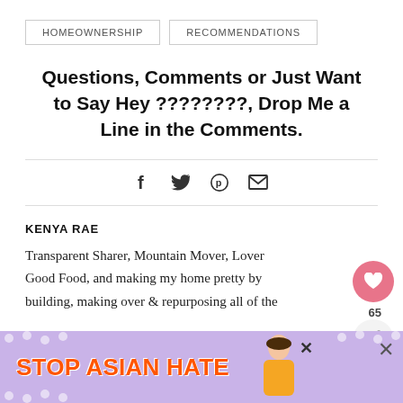HOMEOWNERSHIP   RECOMMENDATIONS
Questions, Comments or Just Want to Say Hey ????????, Drop Me a Line in the Comments.
[Figure (infographic): Social share icons: Facebook (f), Twitter bird, Pinterest (p), Email (envelope)]
KENYA RAE
Transparent Sharer, Mountain Mover, Lover Good Food, and making my home pretty by building, making over & repurposing all of the th... ...ng and
[Figure (infographic): Ad banner: STOP ASIAN HATE with decorative flowers and a woman illustration, purple background, orange text]